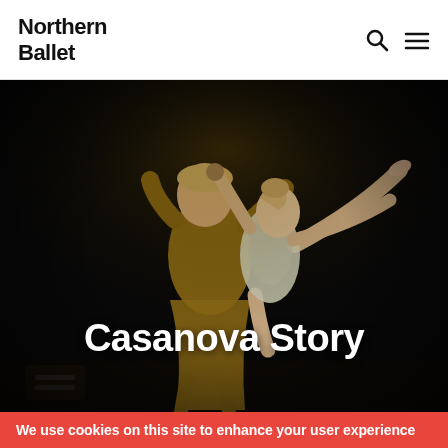Northern Ballet
[Figure (photo): Two ballet dancers performing on a dark stage. A male dancer in a golden costume holds a female dancer who wears a light-colored costume. The female dancer has one leg extended high in the air and her arms spread wide. Both have period-style hair. The image is dramatically lit against a black background.]
Casanova Story
We use cookies on this site to enhance your user experience